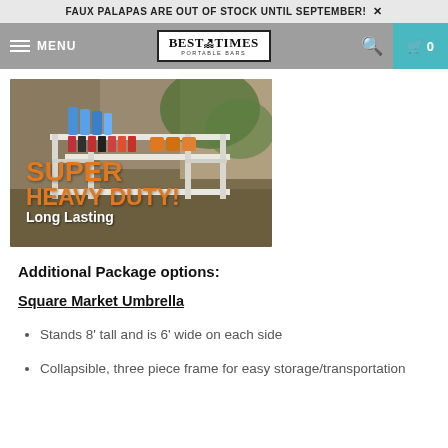FAUX PALAPAS ARE OUT OF STOCK UNTIL SEPTEMBER! ×
[Figure (screenshot): Navigation bar with hamburger menu, MENU text, Best of Times Portable Bars logo, search icon, and cart icon showing 0 items]
[Figure (photo): A white portable bar/shelving unit loaded with beverages outdoors, with text overlay: SUPER HEAVY DUTY! Long Lasting]
Additional Package options:
Square Market Umbrella
Stands 8' tall and is 6' wide on each side
Collapsible, three piece frame for easy storage/transportation